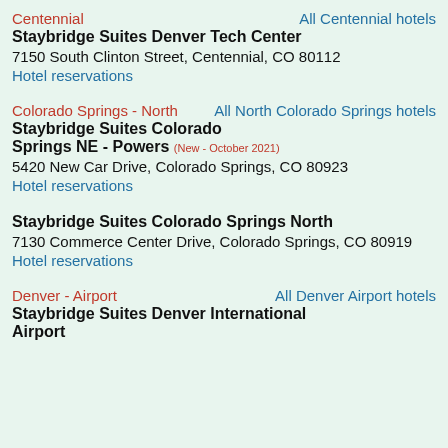Centennial
All Centennial hotels
Staybridge Suites Denver Tech Center
7150 South Clinton Street, Centennial, CO 80112
Hotel reservations
Colorado Springs - North
All North Colorado Springs hotels
Staybridge Suites Colorado Springs NE - Powers (New - October 2021)
5420 New Car Drive, Colorado Springs, CO 80923
Hotel reservations
Staybridge Suites Colorado Springs North
7130 Commerce Center Drive, Colorado Springs, CO 80919
Hotel reservations
Denver - Airport
All Denver Airport hotels
Staybridge Suites Denver International Airport